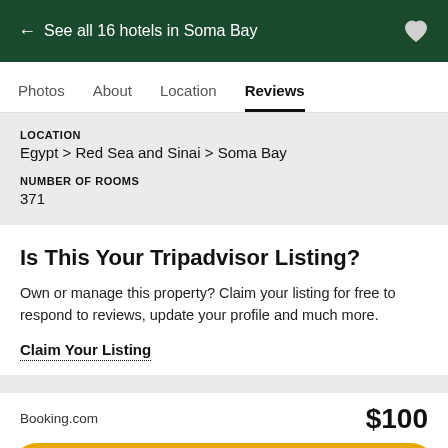← See all 16 hotels in Soma Bay
Photos  About  Location  Reviews
LOCATION
Egypt > Red Sea and Sinai > Soma Bay
NUMBER OF ROOMS
371
Is This Your Tripadvisor Listing?
Own or manage this property? Claim your listing for free to respond to reviews, update your profile and much more.
Claim Your Listing
Booking.com   $100
View deal